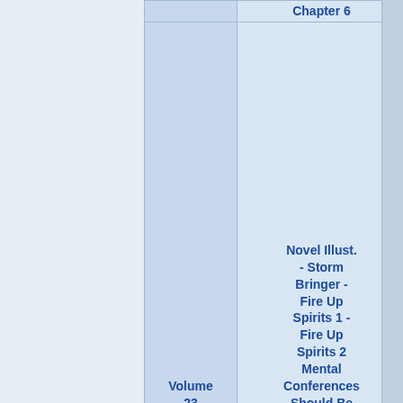| Volume | Chapters |
| --- | --- |
| Volume 23 | Novel Illust. - Storm Bringer - Fire Up Spirits 1 - Fire Up Spirits 2 Mental Conferences Should Be Held In Secret - To Be Continued at the Battlefield - Author's Notes |
| Volume (24) | Novel Illust. - Prologue - Chapter 1 - Chapter 2 - Chapter 3 - |